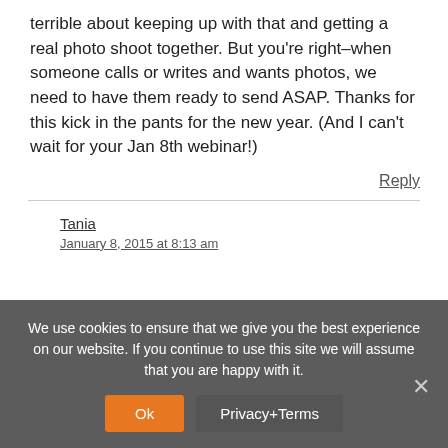terrible about keeping up with that and getting a real photo shoot together. But you're right–when someone calls or writes and wants photos, we need to have them ready to send ASAP. Thanks for this kick in the pants for the new year. (And I can't wait for your Jan 8th webinar!)
Reply
Tania
January 8, 2015 at 8:13 am
We use cookies to ensure that we give you the best experience on our website. If you continue to use this site we will assume that you are happy with it.
Ok
Privacy+Terms